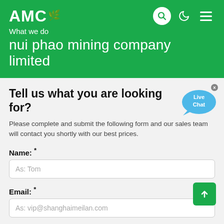AMC — What we do
nui phao mining company limited
Tell us what you are looking for?
Please complete and submit the following form and our sales team will contact you shortly with our best prices.
Name: *
As: Tom
Email: *
As: vip@shanghaimeilan.com
Phone: *
With Country Code